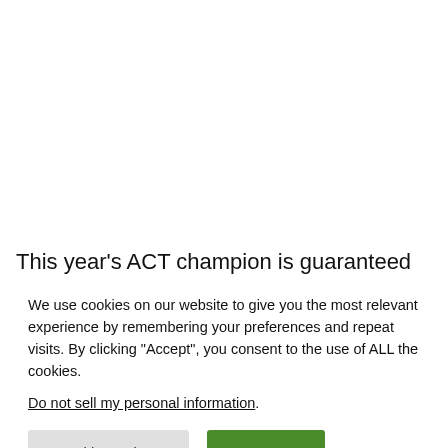This year’s ACT champion is guaranteed nearly $12,000
We use cookies on our website to give you the most relevant experience by remembering your preferences and repeat visits. By clicking “Accept”, you consent to the use of ALL the cookies.
Do not sell my personal information.